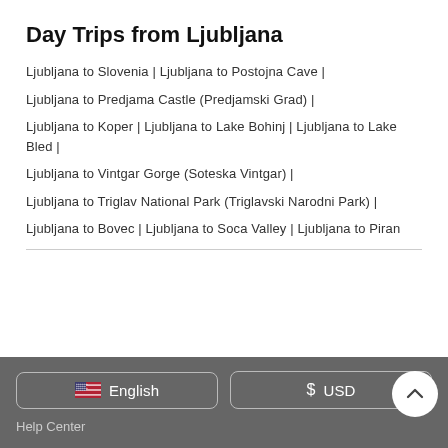Day Trips from Ljubljana
Ljubljana to Slovenia | Ljubljana to Postojna Cave |
Ljubljana to Predjama Castle (Predjamski Grad) |
Ljubljana to Koper | Ljubljana to Lake Bohinj | Ljubljana to Lake Bled |
Ljubljana to Vintgar Gorge (Soteska Vintgar) |
Ljubljana to Triglav National Park (Triglavski Narodni Park) |
Ljubljana to Bovec | Ljubljana to Soca Valley | Ljubljana to Piran
English  $  USD  Help Center